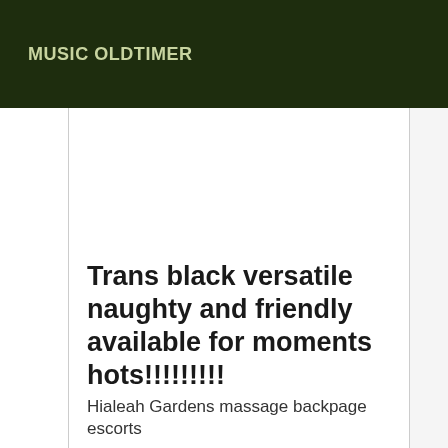MUSIC OLDTIMER
Trans black versatile naughty and friendly available for moments hots!!!!!!!!!
Hialeah Gardens massage backpage escorts